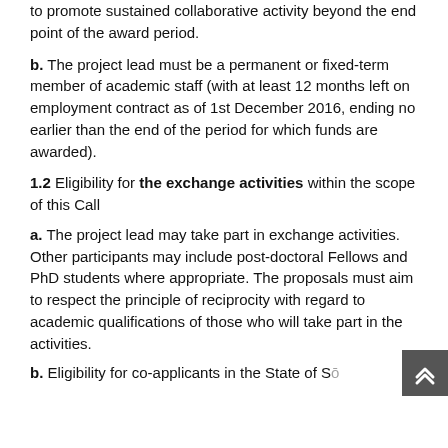to promote sustained collaborative activity beyond the end point of the award period.
b. The project lead must be a permanent or fixed-term member of academic staff (with at least 12 months left on employment contract as of 1st December 2016, ending no earlier than the end of the period for which funds are awarded).
1.2 Eligibility for the exchange activities within the scope of this Call
a. The project lead may take part in exchange activities. Other participants may include post-doctoral Fellows and PhD students where appropriate. The proposals must aim to respect the principle of reciprocity with regard to academic qualifications of those who will take part in the activities.
b. Eligibility for co-applicants in the State of S...